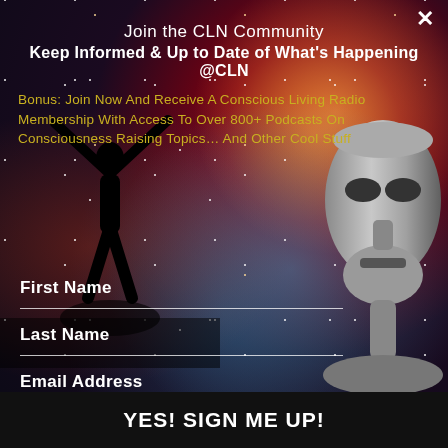[Figure (illustration): Space/galaxy background with silhouette of person with arms raised and a silver robot/alien face on the right side]
Join the CLN Community
Keep Informed & Up to Date of What's Happening @CLN
Bonus: Join Now And Receive A Conscious Living Radio Membership With Access To Over 800+ Podcasts On Consciousness Raising Topics… And Other Cool Stuff
First Name
Last Name
Email Address
YES! SIGN ME UP!